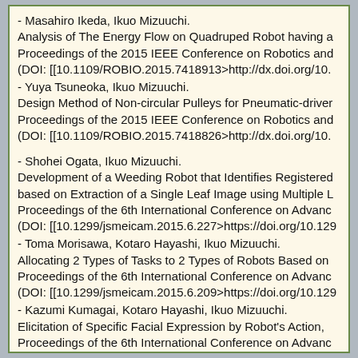- Masahiro Ikeda, Ikuo Mizuuchi.
Analysis of The Energy Flow on Quadruped Robot having a
Proceedings of the 2015 IEEE Conference on Robotics and
(DOI: [[10.1109/ROBIO.2015.7418913>http://dx.doi.org/10.
- Yuya Tsuneoka, Ikuo Mizuuchi.
Design Method of Non-circular Pulleys for Pneumatic-driver
Proceedings of the 2015 IEEE Conference on Robotics and
(DOI: [[10.1109/ROBIO.2015.7418826>http://dx.doi.org/10.
- Shohei Ogata, Ikuo Mizuuchi.
Development of a Weeding Robot that Identifies Registered
based on Extraction of a Single Leaf Image using Multiple L
Proceedings of the 6th International Conference on Advanc
(DOI: [[10.1299/jsmeicam.2015.6.227>https://doi.org/10.129
- Toma Morisawa, Kotaro Hayashi, Ikuo Mizuuchi.
Allocating 2 Types of Tasks to 2 Types of Robots Based on
Proceedings of the 6th International Conference on Advanc
(DOI: [[10.1299/jsmeicam.2015.6.209>https://doi.org/10.129
- Kazumi Kumagai, Kotaro Hayashi, Ikuo Mizuuchi.
Elicitation of Specific Facial Expression by Robot's Action,
Proceedings of the 6th International Conference on Advanc
(DOI: [[10.1299/jsmeicam.2015.6.53>https://doi.org/10.1299